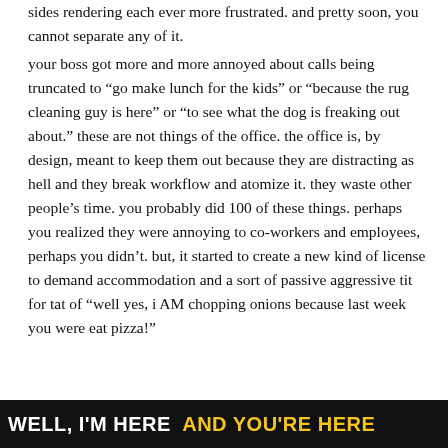sides rendering each ever more frustrated. and pretty soon, you cannot separate any of it.
your boss got more and more annoyed about calls being truncated to “go make lunch for the kids” or “because the rug cleaning guy is here” or “to see what the dog is freaking out about.” these are not things of the office. the office is, by design, meant to keep them out because they are distracting as hell and they break workflow and atomize it. they waste other people’s time. you probably did 100 of these things. perhaps you realized they were annoying to co-workers and employees, perhaps you didn’t. but, it started to create a new kind of license to demand accommodation and a sort of passive aggressive tit for tat of “well yes, i AM chopping onions because last week you were eat pizza!”
[Figure (photo): Dark banner image at bottom with bold white and yellow uppercase text reading: WELL, I'M HERE  AND YOU'RE HERE]